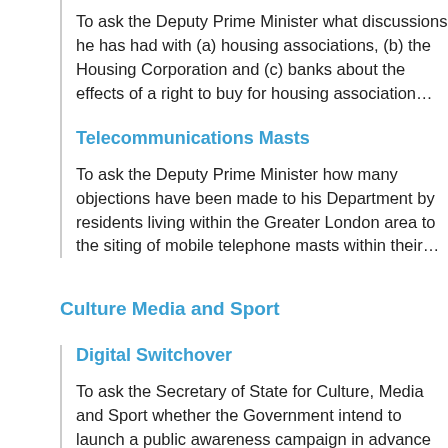To ask the Deputy Prime Minister what discussions he has had with (a) housing associations, (b) the Housing Corporation and (c) banks about the effects of a right to buy for housing association…
Telecommunications Masts
To ask the Deputy Prime Minister how many objections have been made to his Department by residents living within the Greater London area to the siting of mobile telephone masts within their…
Culture Media and Sport
Digital Switchover
To ask the Secretary of State for Culture, Media and Sport whether the Government intend to launch a public awareness campaign in advance of digital…